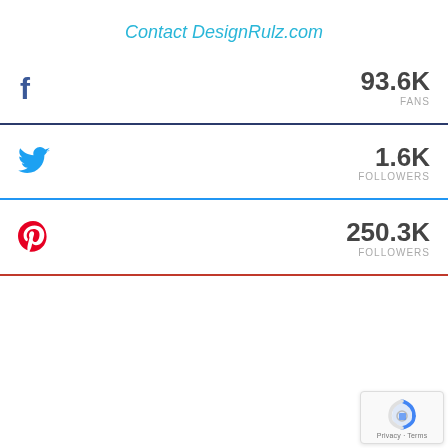Contact DesignRulz.com
93.6K FANS (Facebook)
1.6K FOLLOWERS (Twitter)
250.3K FOLLOWERS (Pinterest)